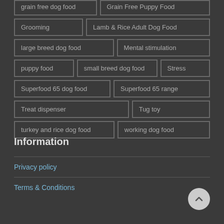grain free dog food
Grain Free Puppy Food
Grooming
Lamb & Rice Adult Dog Food
large breed dog food
Mental stimulation
puppy food
small breed dog food
Stress
Superfood 65 dog food
Superfood 65 range
Treat dispenser
Tug toy
turkey and rice dog food
working dog food
Information
Privacy policy
Terms & Conditions